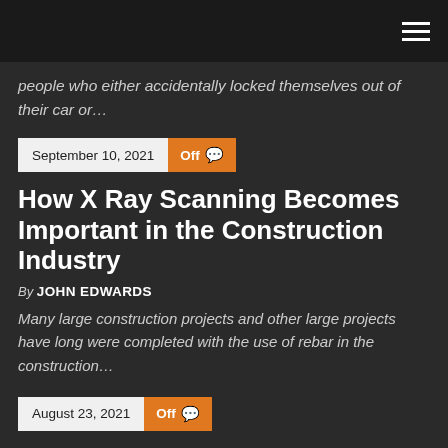people who either accidentally locked themselves out of their car or…
September 10, 2021  Off
How X Ray Scanning Becomes Important in the Construction Industry
By JOHN EDWARDS
Many large construction projects and other large projects have long were completed with the use of rebar in the construction…
August 23, 2021  Off
Looking for the best gas pool heater?